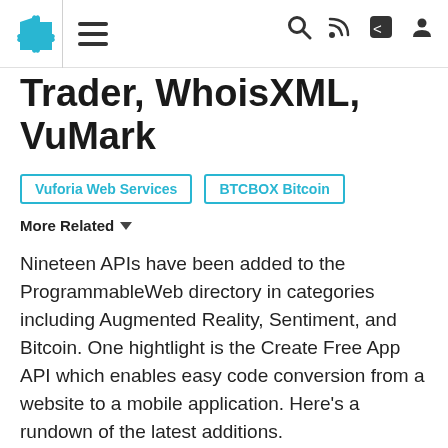Navigation bar with puzzle logo, hamburger menu, search, RSS, share, and user icons
Trader, WhoisXML, VuMark
Vuforia Web Services
BTCBOX Bitcoin
More Related ▾
Nineteen APIs have been added to the ProgrammableWeb directory in categories including Augmented Reality, Sentiment, and Bitcoin. One hightlight is the Create Free App API which enables easy code conversion from a website to a mobile application. Here's a rundown of the latest additions.
Brief · Joy Culbertson · Bitcoin, Customer Service, Food · 02-26-2018